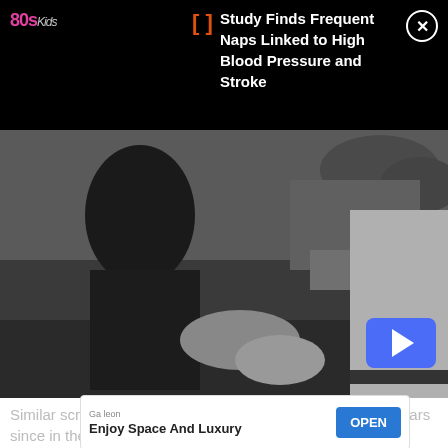80s Kids | Study Finds Frequent Naps Linked to High Blood Pressure and Stroke
[Figure (screenshot): Black and white video thumbnail showing two people interacting outdoors, with a blue play button in the bottom right corner.]
Similar screenings have taken place many times over the years since in the home of
[Figure (infographic): Ad banner: Galeon - Enjoy Space And Luxury - OPEN button]